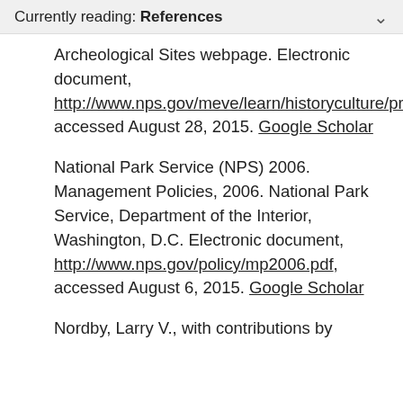Currently reading: References
Archeological Sites webpage. Electronic document, http://www.nps.gov/meve/learn/historyculture/preservation.htm, accessed August 28, 2015. Google Scholar
National Park Service (NPS) 2006. Management Policies, 2006. National Park Service, Department of the Interior, Washington, D.C. Electronic document, http://www.nps.gov/policy/mp2006.pdf, accessed August 6, 2015. Google Scholar
Nordby, Larry V., with contributions by